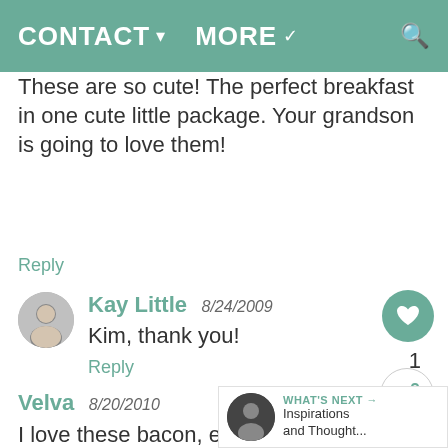CONTACT▾  MORE▾
These are so cute! The perfect breakfast in one cute little package. Your grandson is going to love them!
Reply
Kay Little  8/24/2009
Kim, thank you!
Reply
Velva  8/20/2010
I love these bacon, egg toast cups. Very nice!!! Perfect for company and kids too.